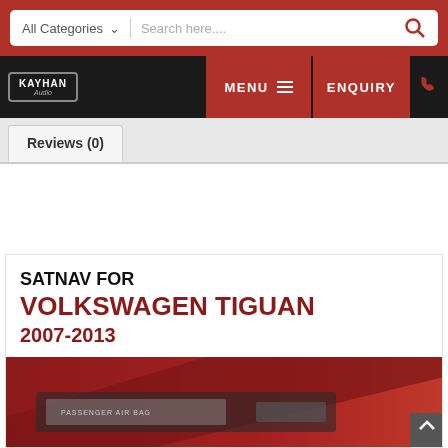All Categories | Search here...
[Figure (logo): Kayhan Audio logo in badge style on dark nav bar with MENU and ENQUIRY buttons]
Reviews (0)
SATNAV FOR VOLKSWAGEN TIGUAN 2007-2013
[Figure (photo): Interior of a Volkswagen Tiguan showing dashboard with PASSENGER AIR BAG label, car audio/navigation unit area, with red accent trim]